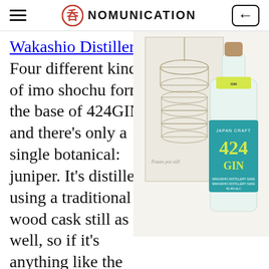NOMUNICATION
Wakashio Distillery. Four different kinds of imo shochu form the base of 424GIN, and there's only a single botanical: juniper. It's distilled using a traditional wood cask still as well, so if it's anything like the stuff coming out of Tatsumi, it might be wonderful. 42.4% abv, 720ml, 5500 yen including tax
[Figure (photo): 424 GIN Japan Craft bottle with teal label and yellow GIN text, next to a sketch/blueprint background of a distillery apparatus]